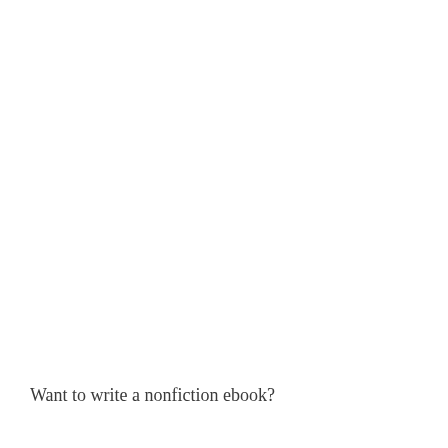Want to write a nonfiction ebook?